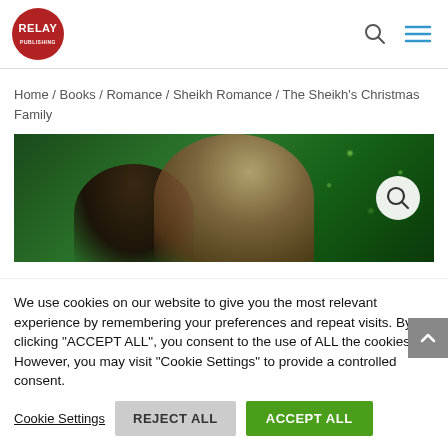[Figure (logo): Relay Publishing logo: red circle with white RELAY text]
Home / Books / Romance / Sheikh Romance / The Sheikh's Christmas Family
[Figure (photo): Book cover for The Sheikh's Christmas Family showing a man and woman embracing against a dark green sparkly background with a magnifying glass icon overlay]
We use cookies on our website to give you the most relevant experience by remembering your preferences and repeat visits. By clicking "ACCEPT ALL", you consent to the use of ALL the cookies. However, you may visit "Cookie Settings" to provide a controlled consent.
Cookie Settings   REJECT ALL   ACCEPT ALL